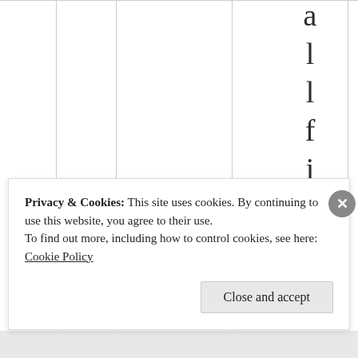[Figure (other): Table with vertical column dividers. Right side shows large vertically-stacked characters: a, l, l, f, i, n, d, closed-double-quote, open-double-quote, A, s — appearing as rotated/vertical text in a table column header.]
Privacy & Cookies: This site uses cookies. By continuing to use this website, you agree to their use.
To find out more, including how to control cookies, see here: Cookie Policy
Close and accept